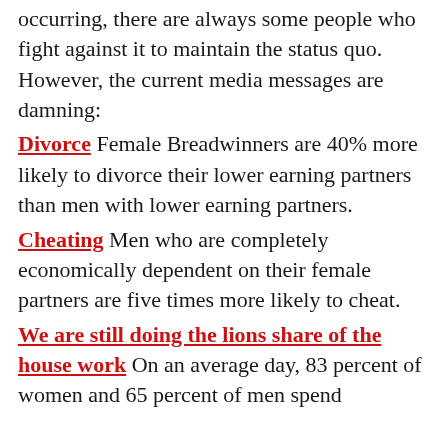occurring, there are always some people who fight against it to maintain the status quo. However, the current media messages are damning:
Divorce Female Breadwinners are 40% more likely to divorce their lower earning partners than men with lower earning partners.
Cheating Men who are completely economically dependent on their female partners are five times more likely to cheat.
We are still doing the lions share of the house work On an average day, 83 percent of women and 65 percent of men spend